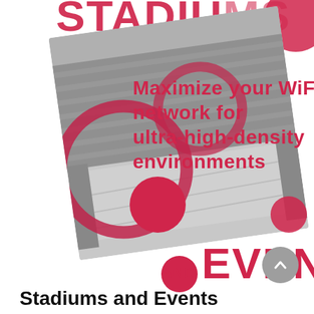STADIUMS
[Figure (photo): Black and white aerial photo of a packed stadium crowd, rotated slightly, with decorative red circular swoosh overlay elements]
Maximize your WiFi network for ultra-high-density environments
AND EVENTS
Stadiums and Events